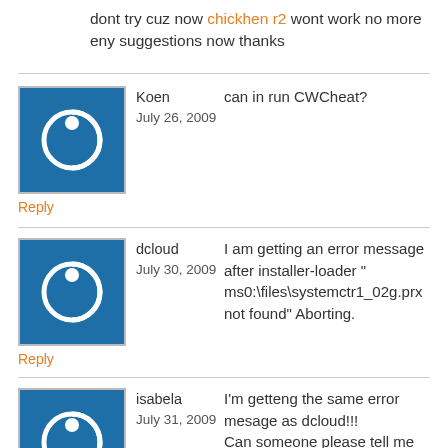dont try cuz now chickhen r2 wont work no more eny suggestions now thanks
Koen
July 26, 2009
can in run CWCheat?
Reply
dcloud
July 30, 2009
I am getting an error message after installer-loader " ms0:\files\systemctr1_02g.prx not found" Aborting.
Reply
isabela
July 31, 2009
I'm getteng the same error mesage as dcloud!!!
Can someone please tell me how to fix the problem and get 5.03 GEN-A working on my PSP???
Reply